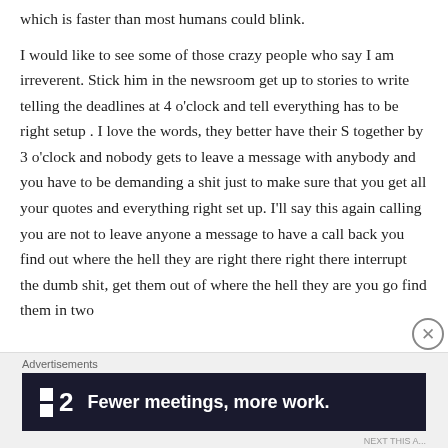which is faster than most humans could blink.
I would like to see some of those crazy people who say I am irreverent. Stick him in the newsroom get up to stories to write telling the deadlines at 4 o'clock and tell everything has to be right setup . I love the words, they better have their S together by 3 o'clock and nobody gets to leave a message with anybody and you have to be demanding a shit just to make sure that you get all your quotes and everything right set up. I'll say this again calling you are not to leave anyone a message to have a call back you find out where the hell they are right there right there interrupt the dumb shit, get them out of where the hell they are you go find them in two
Advertisements
[Figure (other): Advertisement banner for a product/service showing a logo with two squares and the number 2, with text: Fewer meetings, more work.]